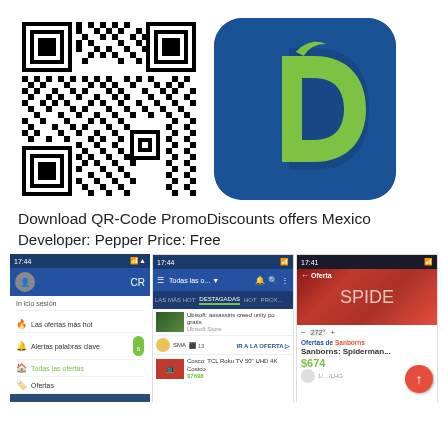[Figure (other): QR code for downloading PromoDiscounts offers Mexico app]
[Figure (logo): PromoDiscounts app logo - blue rounded square with green D letter]
Download QR-Code PromoDiscounts offers Mexico
Developer: Pepper Price: Free
[Figure (screenshot): Three Android app screenshots showing PromoDiscounts Mexico app interface with offers listings, Todas las ofertas screen, and Sanborns Spiderman offer at $674]